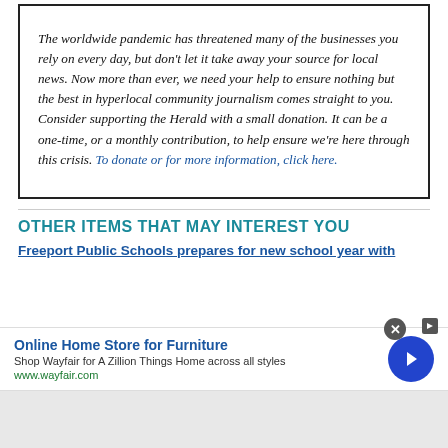The worldwide pandemic has threatened many of the businesses you rely on every day, but don't let it take away your source for local news. Now more than ever, we need your help to ensure nothing but the best in hyperlocal community journalism comes straight to you. Consider supporting the Herald with a small donation. It can be a one-time, or a monthly contribution, to help ensure we're here through this crisis. To donate or for more information, click here.
OTHER ITEMS THAT MAY INTEREST YOU
Freeport Public Schools prepares for new school year with
[Figure (screenshot): Advertisement banner for Wayfair Online Home Store for Furniture with close button, nav arrow, ad title, subtext 'Shop Wayfair for A Zillion Things Home across all styles', URL www.wayfair.com, and a blue circular navigation button with right arrow.]